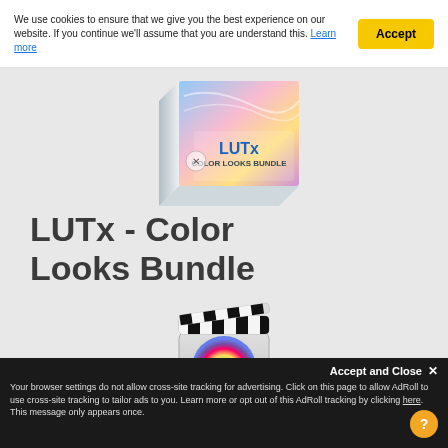We use cookies to ensure that we give you the best experience on our website. If you continue we'll assume that you are understand this. Learn more
Accept
[Figure (illustration): LUTx Color Looks Bundle product box with colorful design on gray background]
LUTx - Color Looks Bundle
[Figure (illustration): Final Cut Pro app icon - film clapperboard with rainbow color wheel]
Accept and Close ×
Your browser settings do not allow cross-site tracking for advertising. Click on this page to allow AdRoll to use cross-site tracking to tailor ads to you. Learn more or opt out of this AdRoll tracking by clicking here. This message only appears once.